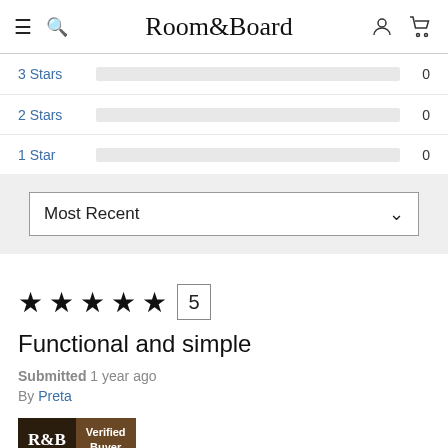Room&Board
3 Stars  0
2 Stars  0
1 Star   0
Most Recent
★★★★★ 5
Functional and simple
Submitted 1 year ago
By Preta
[Figure (logo): R&B Verified Buyer badge]